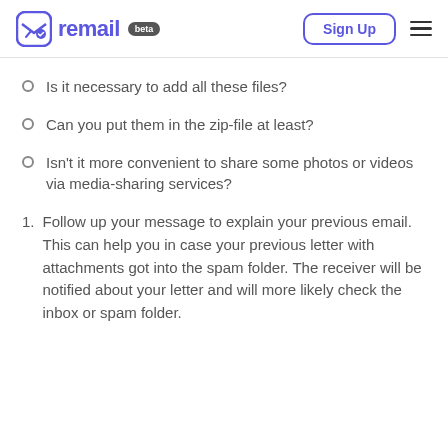remail beta — Sign Up
Is it necessary to add all these files?
Can you put them in the zip-file at least?
Isn't it more convenient to share some photos or videos via media-sharing services?
1. Follow up your message to explain your previous email. This can help you in case your previous letter with attachments got into the spam folder. The receiver will be notified about your letter and will more likely check the inbox or spam folder.